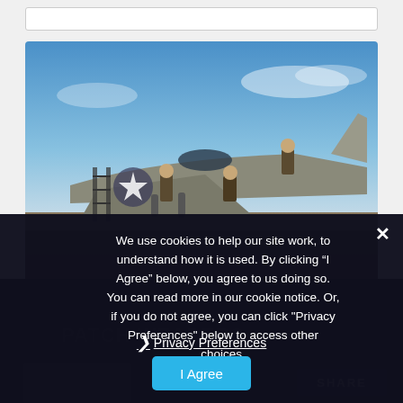[Figure (photo): Three military pilots/crew members in flight suits posing on and around a military jet aircraft with a US Air Force star insignia. Blue sky background with a desert setting.]
PATCH WEARERS
We use cookies to help our site work, to understand how it is used. By clicking “I Agree” below, you agree to us doing so. You can read more in our cookie notice. Or, if you do not agree, you can click "Privacy Preferences" below to access other choices.
❯ Privacy Preferences
I Agree
SHARE